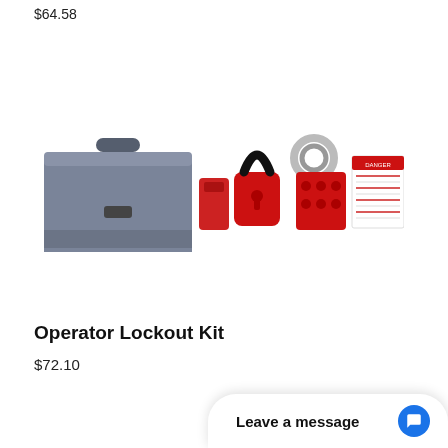$64.58
[Figure (photo): Operator Lockout Kit product image showing a grey toolbox, red circuit breaker lockout, red padlock, red hasp, and a set of red lockout tags/labels]
Operator Lockout Kit
$72.10
Leave a message